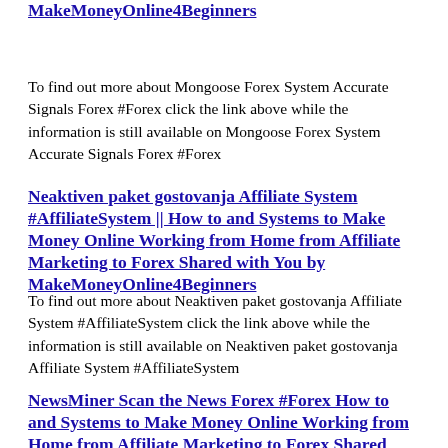MakeMoneyOnline4Beginners
To find out more about Mongoose Forex System Accurate Signals Forex #Forex click the link above while the information is still available on Mongoose Forex System Accurate Signals Forex #Forex
Neaktiven paket gostovanja Affiliate System #AffiliateSystem || How to and Systems to Make Money Online Working from Home from Affiliate Marketing to Forex Shared with You by MakeMoneyOnline4Beginners
To find out more about Neaktiven paket gostovanja Affiliate System #AffiliateSystem click the link above while the information is still available on Neaktiven paket gostovanja Affiliate System #AffiliateSystem
NewsMiner Scan the News Forex #Forex How to and Systems to Make Money Online Working from Home from Affiliate Marketing to Forex Shared with You by MakeMoneyOnline4Beginners